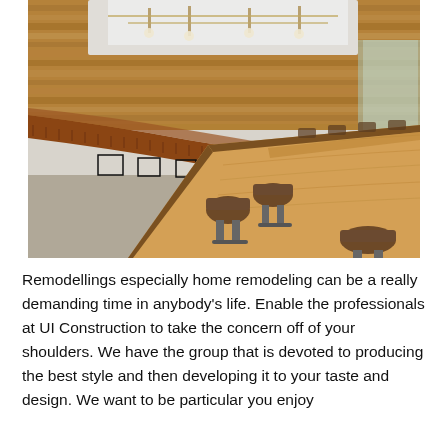[Figure (photo): Interior photo of a modern conference room featuring a large curved wooden table, brown leather rolling chairs, a curved banquette seating area with orange/rust upholstery along a reclaimed wood accent wall, and pendant lighting on a grid ceiling.]
Remodellings especially home remodeling can be a really demanding time in anybody's life. Enable the professionals at UI Construction to take the concern off of your shoulders. We have the group that is devoted to producing the best style and then developing it to your taste and design. We want to be particular you enjoy